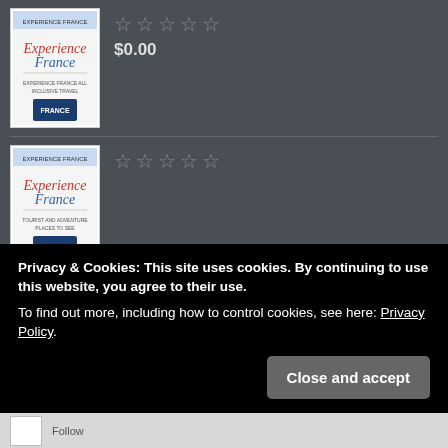[Figure (screenshot): Book listing row 1: book cover thumbnail (France themed) with 5 empty stars rating and price $0.00]
[Figure (screenshot): Book listing row 2: book cover thumbnail (France themed) with 5 empty stars rating]
[Figure (screenshot): Book listing row 3: book cover thumbnail (France themed) with 5 empty stars rating]
[Figure (screenshot): Book listing row 4 (partial): book cover thumbnail (France themed) with 5 empty stars rating]
Privacy & Cookies: This site uses cookies. By continuing to use this website, you agree to their use.
To find out more, including how to control cookies, see here: Privacy Policy.
Close and accept